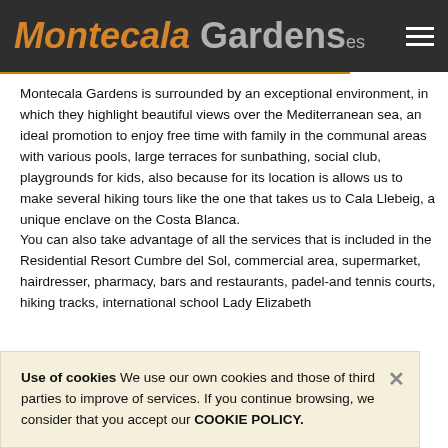Montecala Gardens.es
Montecala Gardens is surrounded by an exceptional environment, in which they highlight beautiful views over the Mediterranean sea, an ideal promotion to enjoy free time with family in the communal areas with various pools, large terraces for sunbathing, social club, playgrounds for kids, also because for its location is allows us to make several hiking tours like the one that takes us to Cala Llebeig, a unique enclave on the Costa Blanca. You can also take advantage of all the services that is included in the Residential Resort Cumbre del Sol, commercial area, supermarket, hairdresser, pharmacy, bars and restaurants, padel- and tennis courts, hiking tracks, international school Lady Elizabeth...
Use of cookies We use our own cookies and those of third parties to improve of services. If you continue browsing, we consider that you accept our COOKIE POLICY.